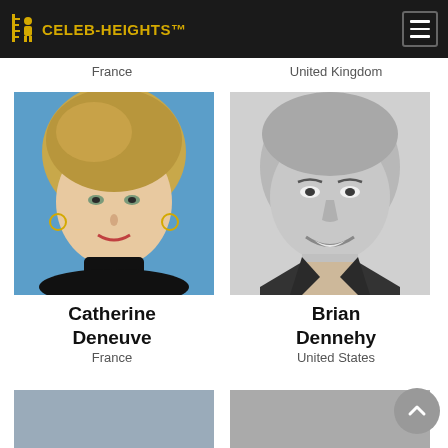CELEB-HEIGHTS™
France
United Kingdom
[Figure (photo): Color photo of Catherine Deneuve, an older blonde woman smiling against a blue background]
Catherine Deneuve
France
[Figure (photo): Black and white photo of Brian Dennehy, an older man smiling, wearing a dark jacket]
Brian Dennehy
United States